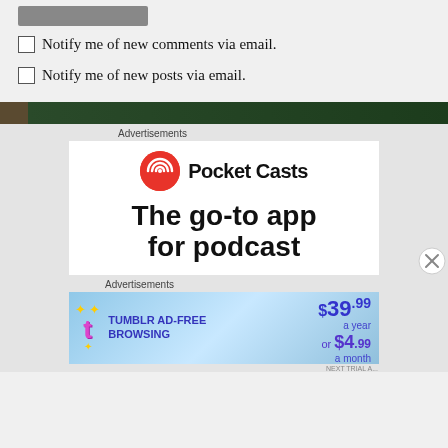[Figure (screenshot): Submit button (gray rectangle)]
Notify me of new comments via email.
Notify me of new posts via email.
Advertisements
[Figure (logo): Pocket Casts advertisement: Pocket Casts logo (red circular icon with white antenna lines) and text 'Pocket Casts'. Below in large bold text: 'The go-to app for podcast']
Advertisements
[Figure (illustration): Tumblr Ad-Free Browsing advertisement: Tumblr 't' logo in pink/purple with sparkles, text 'TUMBLR AD-FREE BROWSING', price '$39.99 a year or $4.99 a month' on blue gradient background]